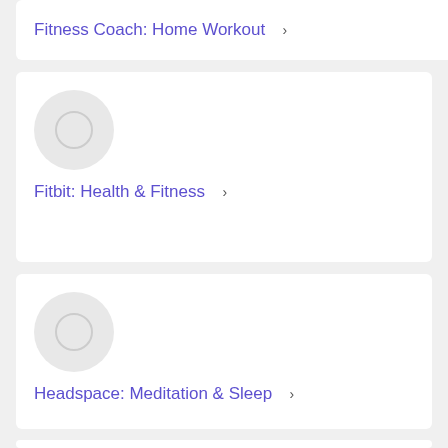Fitness Coach: Home Workout ›
Fitbit: Health & Fitness ›
Headspace: Meditation & Sleep ›